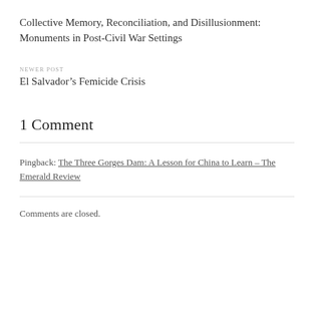Collective Memory, Reconciliation, and Disillusionment: Monuments in Post-Civil War Settings
NEWER POST
El Salvador’s Femicide Crisis
1 Comment
Pingback: The Three Gorges Dam: A Lesson for China to Learn – The Emerald Review
Comments are closed.